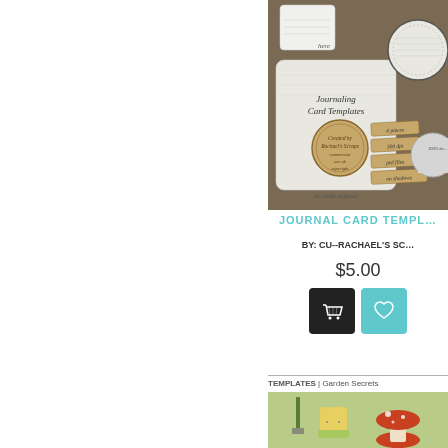[Figure (photo): Journaling Card Templates product image showing various card template designs on a brown/tan background with journaling cards, circular frames, and labels with text including 'Journaling Card Templates', 'Created by Rachael's Scraps', 'commercial use ok', '4 pieces', '300 dpi', 'psd files', 'no shadows', 'no credit required']
JOURNAL CARD TEMPL...
BY: CU--RACHAEL'S SC...
$5.00
[Figure (photo): Add to cart button icon (dark/black background with shopping cart icon)]
[Figure (photo): Add to wishlist button icon (teal/cyan background with heart icon)]
TEMPLATES | Garden Secrets
[Figure (photo): Garden Secrets product image showing garden-themed clipart including a shovel, yellow rain boots, and a red mushroom on a green background]